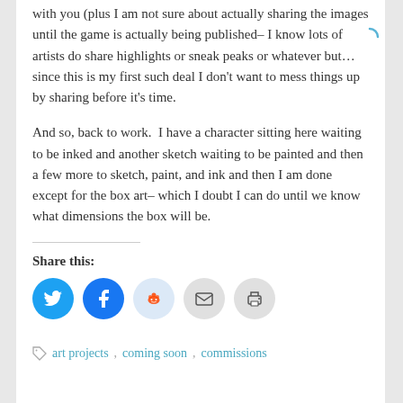with you (plus I am not sure about actually sharing the images until the game is actually being published– I know lots of artists do share highlights or sneak peaks or whatever but… since this is my first such deal I don't want to mess things up by sharing before it's time.
And so, back to work.  I have a character sitting here waiting to be inked and another sketch waiting to be painted and then a few more to sketch, paint, and ink and then I am done except for the box art– which I doubt I can do until we know what dimensions the box will be.
Share this:
[Figure (infographic): Social share icons: Twitter (blue), Facebook (blue), Reddit (light blue), Email (gray), Print (gray)]
art projects  coming soon  commissions